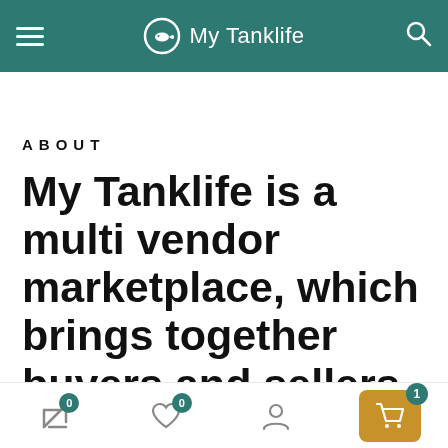My Tanklife
ABOUT
My Tanklife is a multi vendor marketplace, which brings together buyers and sellers who love everything
Bottom navigation bar with icons: compare (0), wishlist (0), account, cart (1)